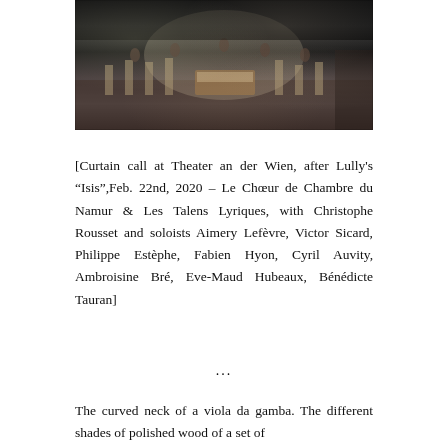[Figure (photo): Curtain call at Theater an der Wien, showing orchestra and performers on stage after Lully's Isis performance, Feb. 22nd 2020. Dark indoor concert hall scene.]
[Curtain call at Theater an der Wien, after Lully's "Isis",Feb. 22nd, 2020 – Le Chœur de Chambre du Namur & Les Talens Lyriques, with Christophe Rousset and soloists Aimery Lefèvre, Victor Sicard, Philippe Estèphe, Fabien Hyon, Cyril Auvity, Ambroisine Bré, Eve-Maud Hubeaux, Bénédicte Tauran]
...
The curved neck of a viola da gamba. The different shades of polished wood of a set of